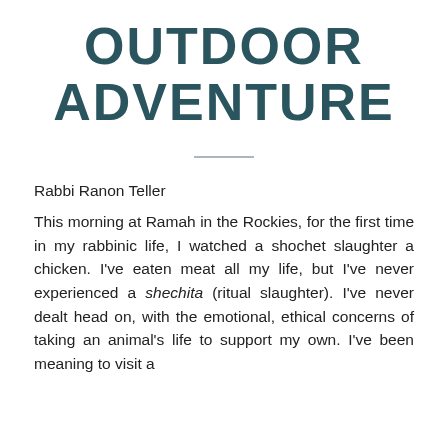OUTDOOR ADVENTURE
Rabbi Ranon Teller
This morning at Ramah in the Rockies, for the first time in my rabbinic life, I watched a shochet slaughter a chicken. I've eaten meat all my life, but I've never experienced a shechita (ritual slaughter). I've never dealt head on, with the emotional, ethical concerns of taking an animal's life to support my own. I've been meaning to visit a